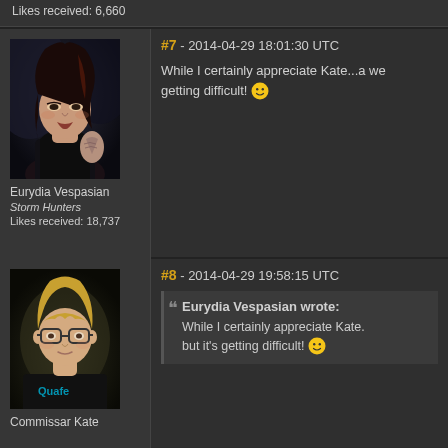Likes received: 6,660
#7 - 2014-04-29 18:01:30 UTC
[Figure (illustration): Digital artwork avatar of a woman with dark hair, pale skin, wearing a black top, with a tattoo on her shoulder]
Eurydia Vespasian
Storm Hunters
Likes received: 18,737
While I certainly appreciate Kate...a we getting difficult! 🙂
#8 - 2014-04-29 19:58:15 UTC
[Figure (illustration): Digital artwork avatar of a woman with short blonde hair wearing glasses and a black t-shirt with Quafe logo]
Commissar Kate
Eurydia Vespasian wrote: While I certainly appreciate Kate. but it's getting difficult! 🙂